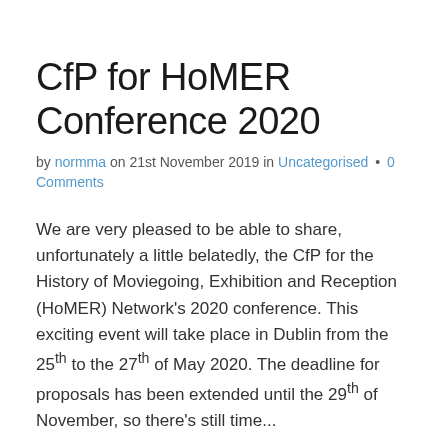CfP for HoMER Conference 2020
by normma on 21st November 2019 in Uncategorised • 0 Comments
We are very pleased to be able to share, unfortunately a little belatedly, the CfP for the History of Moviegoing, Exhibition and Reception (HoMER) Network's 2020 conference. This exciting event will take place in Dublin from the 25th to the 27th of May 2020. The deadline for proposals has been extended until the 29th of November, so there's still time...
Read more